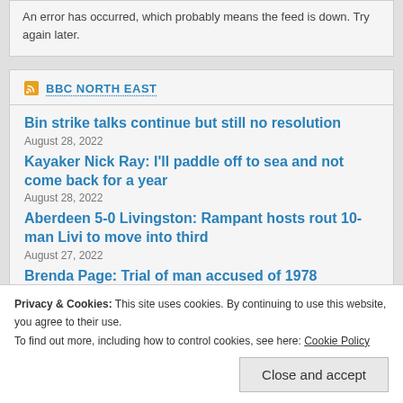An error has occurred, which probably means the feed is down. Try again later.
BBC NORTH EAST
Bin strike talks continue but still no resolution
August 28, 2022
Kayaker Nick Ray: I'll paddle off to sea and not come back for a year
August 28, 2022
Aberdeen 5-0 Livingston: Rampant hosts rout 10-man Livi to move into third
August 27, 2022
Brenda Page: Trial of man accused of 1978
Privacy & Cookies: This site uses cookies. By continuing to use this website, you agree to their use.
To find out more, including how to control cookies, see here: Cookie Policy